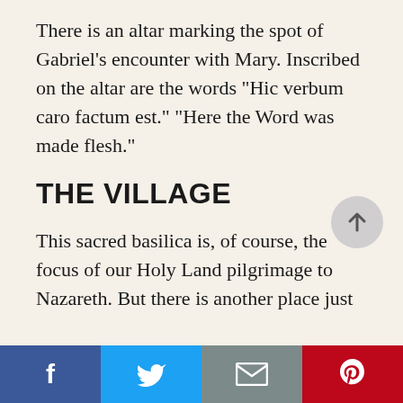There is an altar marking the spot of Gabriel’s encounter with Mary.  Inscribed on the altar are the words “Hic verbum caro factum est.”   “Here the Word was made flesh.”
THE VILLAGE
This sacred basilica is, of course, the focus of our Holy Land pilgrimage to Nazareth.  But there is another place just